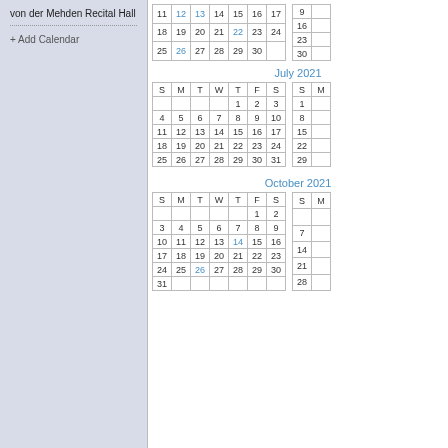von der Mehden Recital Hall
+ Add Calendar
July 2021
| S | M | T | W | T | F | S |
| --- | --- | --- | --- | --- | --- | --- |
|  |  |  |  | 1 | 2 | 3 |
| 4 | 5 | 6 | 7 | 8 | 9 | 10 |
| 11 | 12 | 13 | 14 | 15 | 16 | 17 |
| 18 | 19 | 20 | 21 | 22 | 23 | 24 |
| 25 | 26 | 27 | 28 | 29 | 30 | 31 |
October 2021
| S | M | T | W | T | F | S |
| --- | --- | --- | --- | --- | --- | --- |
|  |  |  |  |  | 1 | 2 |
| 3 | 4 | 5 | 6 | 7 | 8 | 9 |
| 10 | 11 | 12 | 13 | 14 | 15 | 16 |
| 17 | 18 | 19 | 20 | 21 | 22 | 23 |
| 24 | 25 | 26 | 27 | 28 | 29 | 30 |
| 31 |  |  |  |  |  |  |